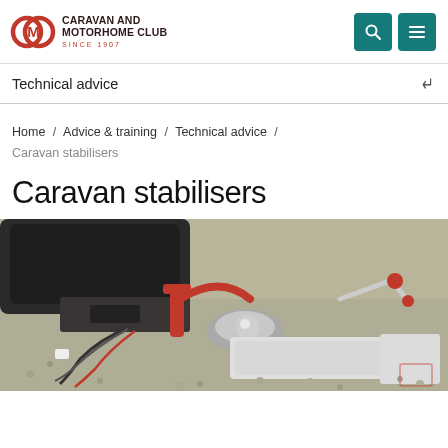CARAVAN AND MOTORHOME CLUB SINCE 1907
Technical advice
Home / Advice & training / Technical advice / Caravan stabilisers
Caravan stabilisers
[Figure (photo): Close-up photograph of a caravan stabiliser hitch coupling mechanism attached to a tow bar, showing red handles, silver metal components, and wiring on a gravel surface]